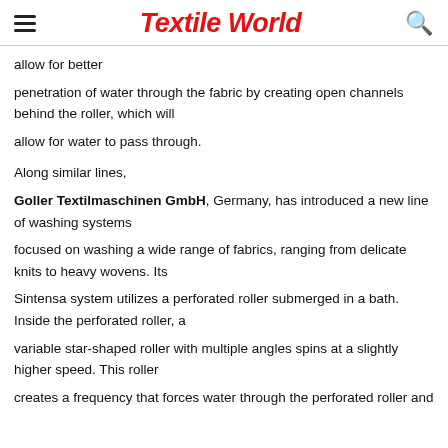Textile World
allow for better penetration of water through the fabric by creating open channels behind the roller, which will allow for water to pass through.
Along similar lines, Goller Textilmaschinen GmbH, Germany, has introduced a new line of washing systems focused on washing a wide range of fabrics, ranging from delicate knits to heavy wovens. Its Sintensa system utilizes a perforated roller submerged in a bath. Inside the perforated roller, a variable star-shaped roller with multiple angles spins at a slightly higher speed. This roller creates a frequency that forces water through the perforated roller and